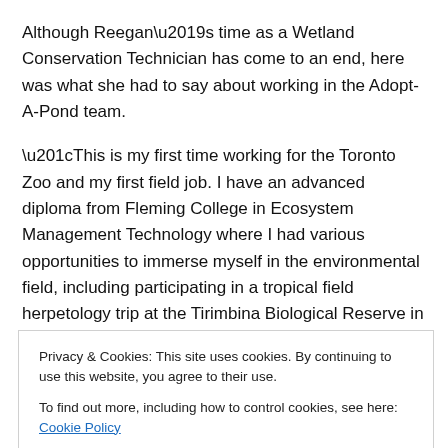Although Reegan's time as a Wetland Conservation Technician has come to an end, here was what she had to say about working in the Adopt-A-Pond team.
“This is my first time working for the Toronto Zoo and my first field job. I have an advanced diploma from Fleming College in Ecosystem Management Technology where I had various opportunities to immerse myself in the environmental field, including participating in a tropical field herpetology trip at the Tirimbina Biological Reserve in Costa Rica. As a Wetland Conservation Assistant with the
Privacy & Cookies: This site uses cookies. By continuing to use this website, you agree to their use.
To find out more, including how to control cookies, see here: Cookie Policy
Close and accept
got to challenge myself in what I thought I was able to